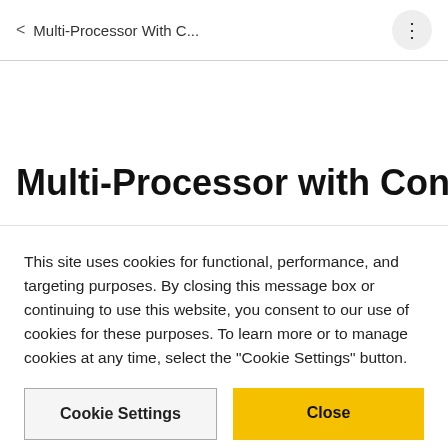< Multi-Processor With C...
Multi-Processor with Concrete Cutter
This site uses cookies for functional, performance, and targeting purposes. By closing this message box or continuing to use this website, you consent to our use of cookies for these purposes. To learn more or to manage cookies at any time, select the "Cookie Settings" button.
Cookie Settings
Close